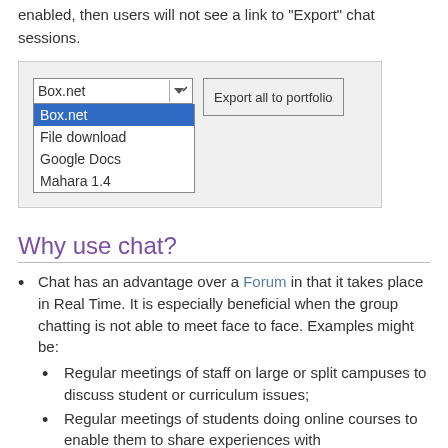enabled, then users will not see a link to "Export" chat sessions.
[Figure (screenshot): Screenshot of a dropdown menu showing portfolio export options: Box.net (selected/highlighted in blue), File download, Google Docs, Mahara 1.4. Next to the dropdown is a button labeled 'Export all to portfolio'.]
Why use chat?
Chat has an advantage over a Forum in that it takes place in Real Time. It is especially beneficial when the group chatting is not able to meet face to face. Examples might be:
Regular meetings of staff on large or split campuses to discuss student or curriculum issues;
Regular meetings of students doing online courses to enable them to share experiences with